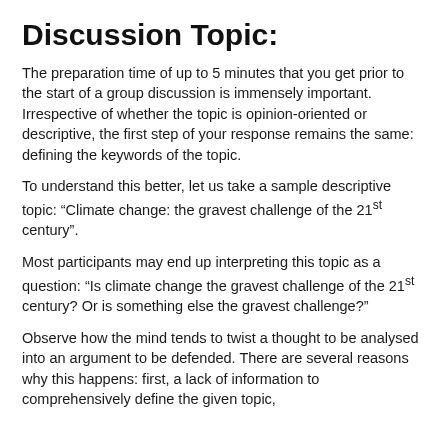Discussion Topic:
The preparation time of up to 5 minutes that you get prior to the start of a group discussion is immensely important. Irrespective of whether the topic is opinion-oriented or descriptive, the first step of your response remains the same: defining the keywords of the topic.
To understand this better, let us take a sample descriptive topic: “Climate change: the gravest challenge of the 21st century”.
Most participants may end up interpreting this topic as a question: “Is climate change the gravest challenge of the 21st century? Or is something else the gravest challenge?”
Observe how the mind tends to twist a thought to be analysed into an argument to be defended. There are several reasons why this happens: first, a lack of information to comprehensively define the given topic,